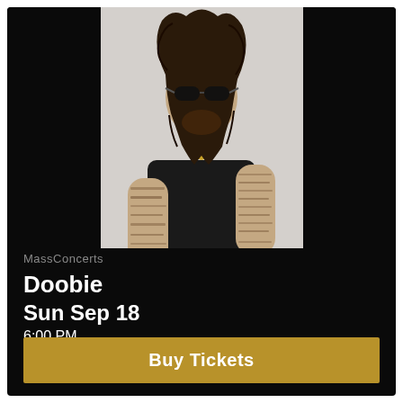[Figure (photo): A male performer with long curly dark hair, sunglasses, heavy tattoos on arms and hands, wearing a black leather short-sleeve shirt and gold chain necklace, posing against a light gray background.]
MassConcerts
Doobie
Sun Sep 18
6:00 PM
The Webster Theater - Underground
Buy Tickets